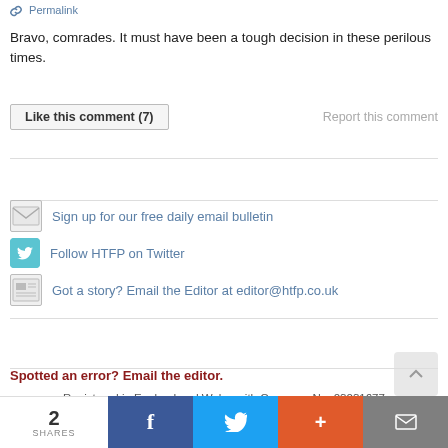Permalink
Bravo, comrades. It must have been a tough decision in these perilous times.
Like this comment (7)   Report this comment
Sign up for our free daily email bulletin
Follow HTFP on Twitter
Got a story? Email the Editor at editor@htfp.co.uk
Spotted an error? Email the editor.
Registered in England and Wales with Company No. 03031677
2 SHARES